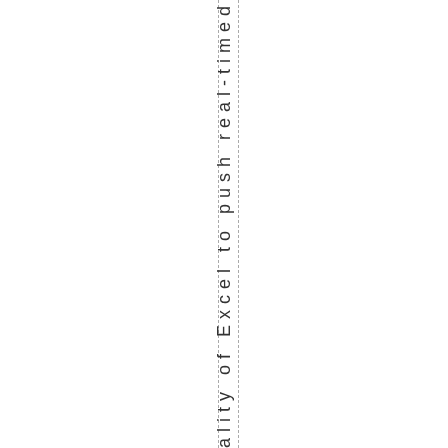ionality of Excel to push real-timed